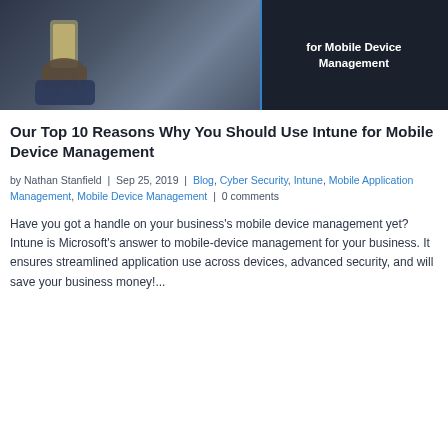[Figure (photo): Hero image showing a person holding a mobile device on the left, with dark background and white bold text 'for Mobile Device Management' on the right panel, separated by a blue vertical bar.]
Our Top 10 Reasons Why You Should Use Intune for Mobile Device Management
by Nathan Stanfield | Sep 25, 2019 | Blog, Cyber Security, Intune, Mobile Application Management, Mobile Device Management | 0 comments
Have you got a handle on your business’s mobile device management yet? Intune is Microsoft’s answer to mobile-device management for your business. It ensures streamlined application use across devices, advanced security, and will save your business money!...